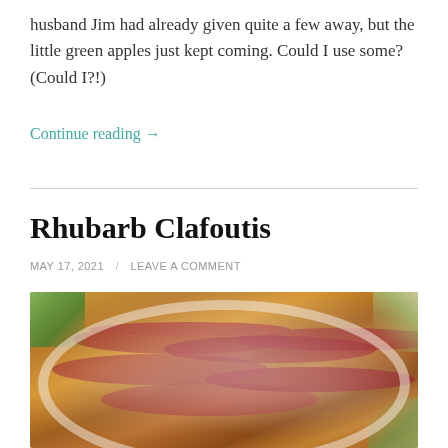husband Jim had already given quite a few away, but the little green apples just kept coming. Could I use some? (Could I?!)
Continue reading →
Rhubarb Clafoutis
MAY 17, 2021 / LEAVE A COMMENT
[Figure (photo): Overhead close-up photo of a rhubarb clafoutis baked in a white round dish, dusted with powdered sugar, showing rhubarb pieces embedded in the golden-brown custard batter, with a colorful floral cloth visible in the background corners.]